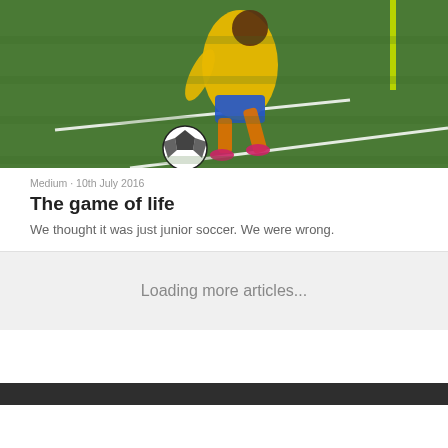[Figure (photo): A soccer player in yellow and blue kit kicking a ball near a corner flag on a green grass field.]
Medium · 10th July 2016
The game of life
We thought it was just junior soccer. We were wrong.
Loading more articles...